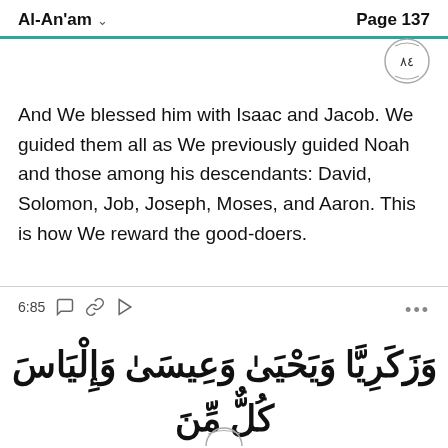Al-An'am  Page 137
[Figure (other): Circular verse number badge showing Arabic numeral 84 (٨٤)]
And We blessed him with Isaac and Jacob. We guided them all as We previously guided Noah and those among his descendants: David, Solomon, Job, Joseph, Moses, and Aaron. This is how We reward the good-doers.
6:85
وَزَكَرِيَّا وَيَحْيَىٰ وَعِيسَىٰ وَإِلْيَاسَ كُلٌّ مِّنَ